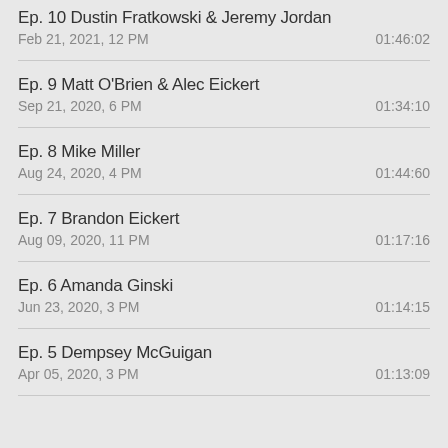Ep. 10 Dustin Fratkowski & Jeremy Jordan
Feb 21, 2021, 12 PM	01:46:02
Ep. 9 Matt O'Brien & Alec Eickert
Sep 21, 2020, 6 PM	01:34:10
Ep. 8 Mike Miller
Aug 24, 2020, 4 PM	01:44:60
Ep. 7 Brandon Eickert
Aug 09, 2020, 11 PM	01:17:16
Ep. 6 Amanda Ginski
Jun 23, 2020, 3 PM	01:14:15
Ep. 5 Dempsey McGuigan
Apr 05, 2020, 3 PM	01:13:09